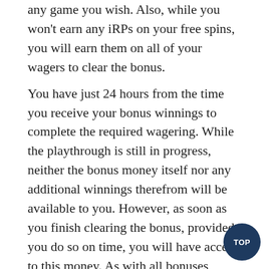any game you wish. Also, while you won't earn any iRPs on your free spins, you will earn them on all of your wagers to clear the bonus.
You have just 24 hours from the time you receive your bonus winnings to complete the required wagering. While the playthrough is still in progress, neither the bonus money itself nor any additional winnings therefrom will be available to you. However, as soon as you finish clearing the bonus, provided you do so on time, you will have access to this money. As with all bonuses, opting out, attempting to withdraw unavailable funds prematurely, or failure to complete the required wagering on time will cause you to forfeit the bonus and any additional winnings therefrom in their entirety.